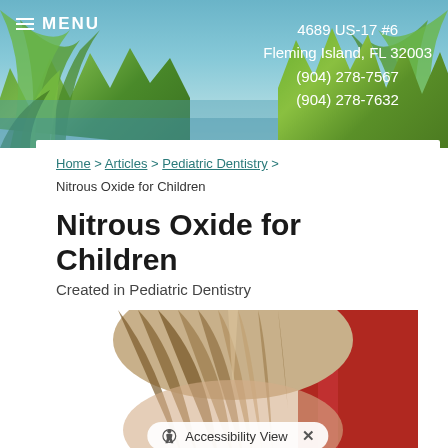MENU  |  4689 US-17 #6  Fleming Island, FL 32003  (904) 278-7567  (904) 278-7632
Home > Articles > Pediatric Dentistry > Nitrous Oxide for Children
Nitrous Oxide for Children
Created in Pediatric Dentistry
[Figure (photo): Child with blonde hair leaning back in a red dental chair, viewed from above]